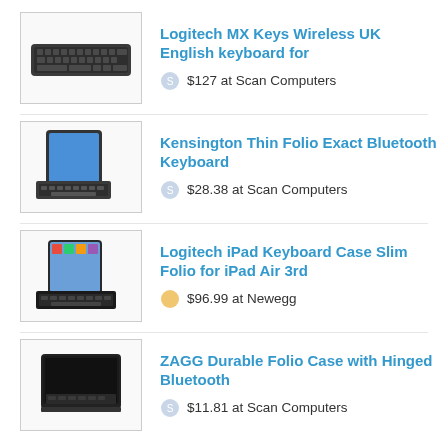Logitech MX Keys Wireless UK English keyboard for — $127 at Scan Computers
Kensington Thin Folio Exact Bluetooth Keyboard — $28.38 at Scan Computers
Logitech iPad Keyboard Case Slim Folio for iPad Air 3rd — $96.99 at Newegg
ZAGG Durable Folio Case with Hinged Bluetooth — $11.81 at Scan Computers